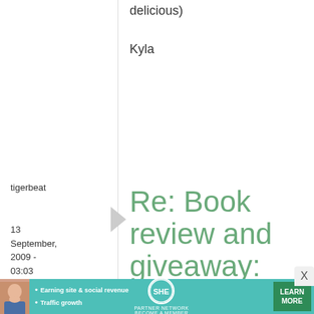delicious)
Kyla
tigerbeat
13 September, 2009 - 03:03
permalink
Re: Book review and giveaway: Izakaya, the Japanese Pub ...
I've been eyeing that
[Figure (infographic): SHE Partner Network advertisement banner with woman photo, bullet points about earning site & social revenue and traffic growth, SHE logo, and Learn More button]